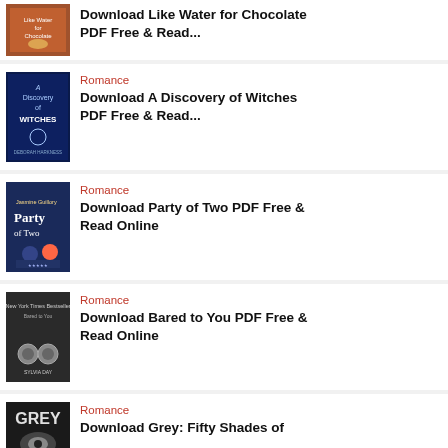Download Like Water for Chocolate PDF Free & Read...
Romance
Download A Discovery of Witches PDF Free & Read...
Romance
Download Party of Two PDF Free & Read Online
Romance
Download Bared to You PDF Free & Read Online
Romance
Download Grey: Fifty Shades of